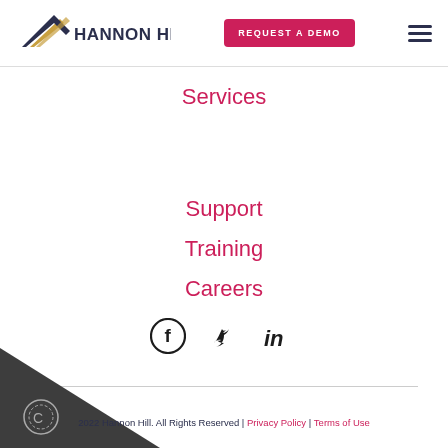[Figure (logo): Hannon Hill logo with stylized wing/chevron graphic in gold and navy, followed by bold text HANNON HILL]
REQUEST A DEMO
Services
Support
Training
Careers
[Figure (illustration): Social media icons: Facebook, Twitter, LinkedIn]
2022 Hannon Hill. All Rights Reserved | Privacy Policy | Terms of Use